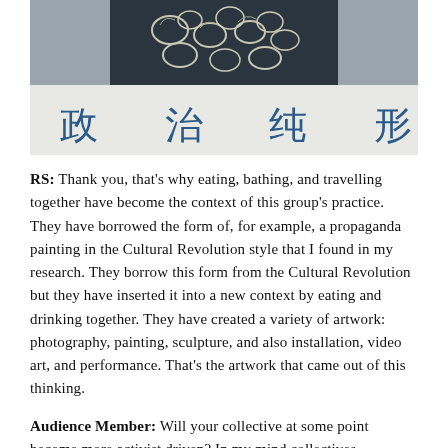[Figure (photo): A photo showing a person in a floral patterned garment (dark with white flowers) at the top, with large Chinese characters '政 治 纯 形 式' (Political Pure Form) in blue below on a light background.]
RS: Thank you, that's why eating, bathing, and travelling together have become the context of this group's practice. They have borrowed the form of, for example, a propaganda painting in the Cultural Revolution style that I found in my research. They borrow this form from the Cultural Revolution but they have inserted it into a new context by eating and drinking together. They have created a variety of artwork: photography, painting, sculpture, and also installation, video art, and performance. That's the artwork that came out of this thinking.
Audience Member: Will your collective at some point become more activist driven? In my mind collectives